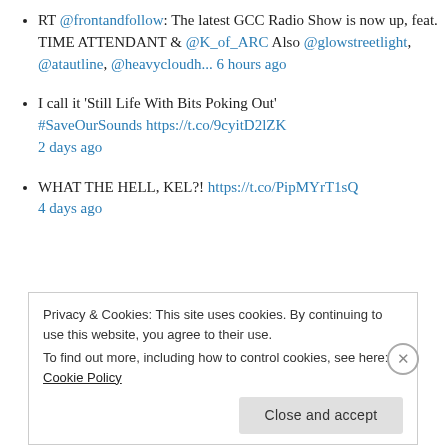RT @frontandfollow: The latest GCC Radio Show is now up, feat. TIME ATTENDANT & @K_of_ARC Also @glowstreetlight, @atautline, @heavycloudh... 6 hours ago
I call it 'Still Life With Bits Poking Out' #SaveOurSounds https://t.co/9cyitD2lZK 2 days ago
WHAT THE HELL, KEL?! https://t.co/PipMYrT1sQ 4 days ago
Privacy & Cookies: This site uses cookies. By continuing to use this website, you agree to their use. To find out more, including how to control cookies, see here: Cookie Policy